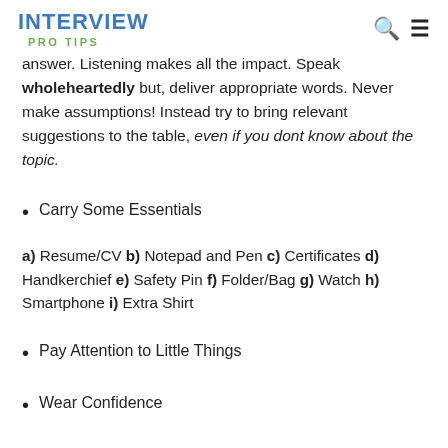INTERVIEW PRO TIPS
answer. Listening makes all the impact. Speak wholeheartedly but, deliver appropriate words. Never make assumptions! Instead try to bring relevant suggestions to the table, even if you dont know about the topic.
Carry Some Essentials
a) Resume/CV b) Notepad and Pen c) Certificates d) Handkerchief e) Safety Pin f) Folder/Bag g) Watch h) Smartphone i) Extra Shirt
Pay Attention to Little Things
Wear Confidence